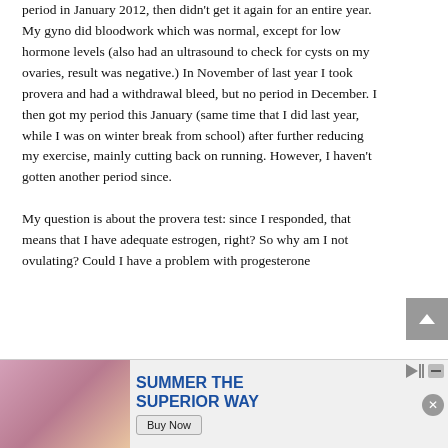period in January 2012, then didn't get it again for an entire year. My gyno did bloodwork which was normal, except for low hormone levels (also had an ultrasound to check for cysts on my ovaries, result was negative.) In November of last year I took provera and had a withdrawal bleed, but no period in December. I then got my period this January (same time that I did last year, while I was on winter break from school) after further reducing my exercise, mainly cutting back on running. However, I haven't gotten another period since.

My question is about the provera test: since I responded, that means that I have adequate estrogen, right? So why am I not ovulating? Could I have a problem with progesterone
[Figure (screenshot): Advertisement banner: SUMMER THE SUPERIOR WAY with Buy Now button, showing a person with a beer bottle and drinks, with play/close icons]